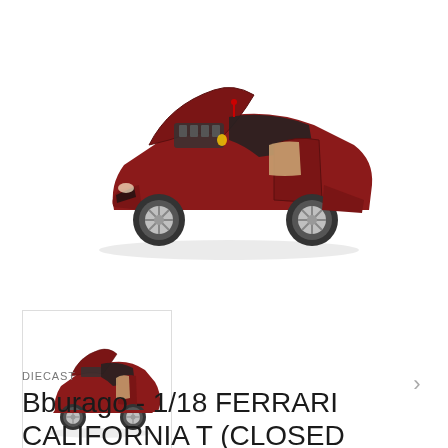[Figure (photo): Large main product photo of a red Bburago 1/18 scale Ferrari California T diecast model car with hood and doors open, showing engine and interior detail, on white background]
[Figure (photo): Thumbnail product photo of same red Bburago 1/18 scale Ferrari California T diecast model car with hood and doors open, shown at smaller size with red underline border indicating selected state]
DIECAST
Bburago - 1/18 FERRARI CALIFORNIA T (CLOSED TOP)